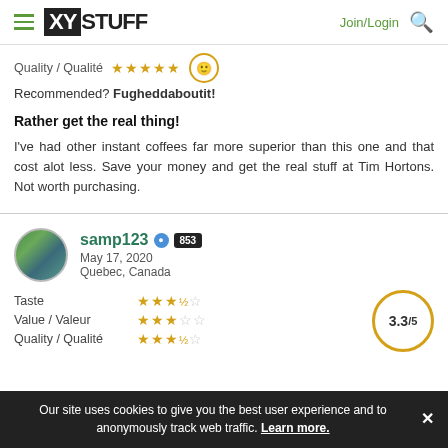XY STUFF — Join/Login [search]
Quality / Qualité ★★★★★ 😊
Recommended? Fugheddaboutit!
Rather get the real thing!
I've had other instant coffees far more superior than this one and that cost alot less. Save your money and get the real stuff at Tim Hortons. Not worth purchasing.
samp123 853 May 17, 2020 Quebec, Canada
Taste ★★★½☆  Value / Valeur ★★★☆☆  Quality / Qualité ★★★½☆  3.3/5
Our site uses cookies to give you the best user experience and to anonymously track web traffic. Learn more.